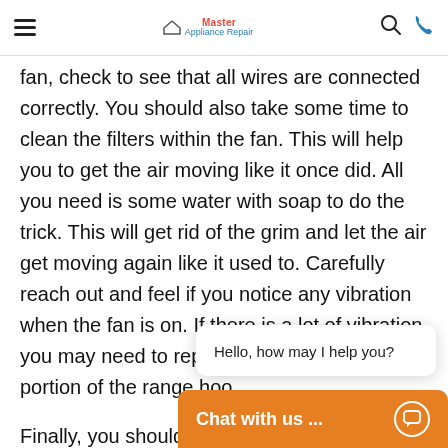Master Appliance Repair
fan, check to see that all wires are connected correctly. You should also take some time to clean the filters within the fan. This will help you to get the air moving like it once did. All you need is some water with soap to do the trick. This will get rid of the grim and let the air get moving again like it used to. Carefully reach out and feel if you notice any vibration when the fan is on. If there is a lot of vibration, you may need to replace the actual fan portion of the range hoo
Finally, you should ta
Hello, how may I help you?
Chat with us ...